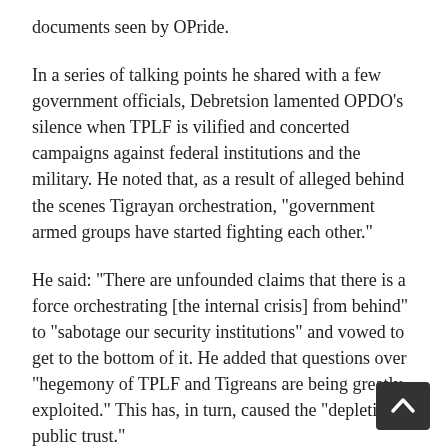documents seen by OPride.
In a series of talking points he shared with a few government officials, Debretsion lamented OPDO’s silence when TPLF is vilified and concerted campaigns against federal institutions and the military. He noted that, as a result of alleged behind the scenes Tigrayan orchestration, “government armed groups have started fighting each other.”
He said: “There are unfounded claims that there is a force orchestrating [the internal crisis] from behind” to “sabotage our security institutions” and vowed to get to the bottom of it. He added that questions over “hegemony of TPLF and Tigreans are being greatly exploited.” This has, in turn, caused the “depletion of public trust.”
In a major escalation of tensions, OPride has learned that TPLF has resolved to reverse gains made by the new OPDO leadership at its expense. To this effect, th